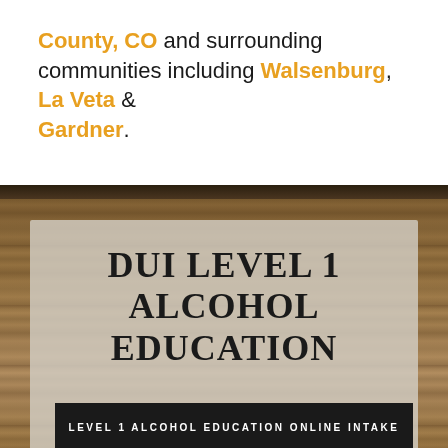County, CO and surrounding communities including Walsenburg, La Veta & Gardner.
DUI LEVEL 1 ALCOHOL EDUCATION
LEVEL 1 ALCOHOL EDUCATION ONLINE INTAKE
Level 1 Alcohol Education Classes consist of 12 hours of alcohol education over 6 sessions, unless an alcohol evaluator states that more time would be appropriate, based